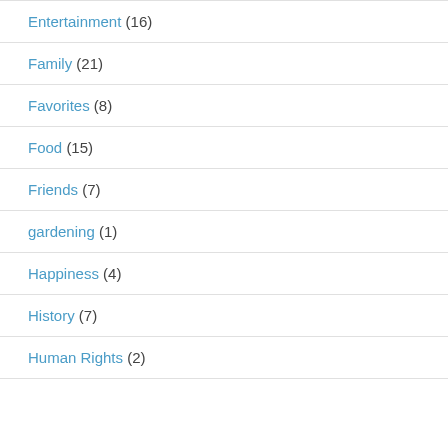Entertainment (16)
Family (21)
Favorites (8)
Food (15)
Friends (7)
gardening (1)
Happiness (4)
History (7)
Human Rights (2)